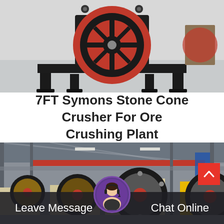[Figure (photo): Close-up front view of a red and black industrial cone crusher flywheel/pulley mounted on a dark frame, photographed in a factory setting with a light grey floor.]
7FT Symons Stone Cone Crusher For Ore Crushing Plant
[Figure (photo): Industrial factory floor showing multiple jaw crusher machines in cream/beige and yellow colors with large black flywheels with red centers, set in a large steel-framed industrial hall with red overhead beams.]
Leave Message
Chat Online